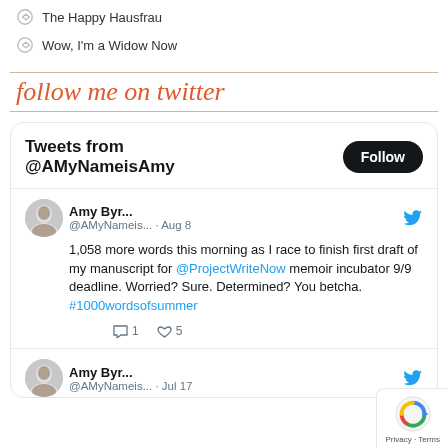The Happy Hausfrau
Wow, I'm a Widow Now
follow me on twitter
[Figure (screenshot): Twitter widget showing Tweets from @AMyNameisAmy with Follow button and a tweet by Amy Byr... @AMyNameis... Aug 8: '1,058 more words this morning as I race to finish first draft of my manuscript for @ProjectWriteNow memoir incubator 9/9 deadline. Worried? Sure. Determined? You betcha. #1000wordsofsummer' with 1 reply and 5 likes. Partial second tweet by Amy Byr... @AMyNameis... Jul 17 visible.]